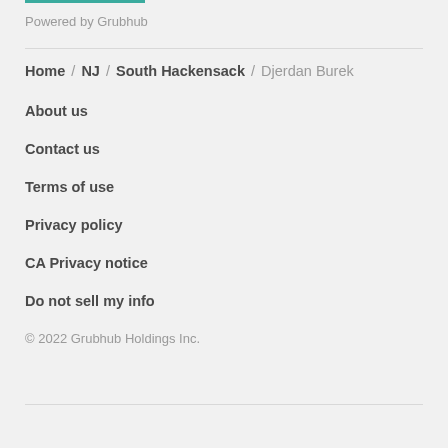Powered by Grubhub
Home / NJ / South Hackensack / Djerdan Burek
About us
Contact us
Terms of use
Privacy policy
CA Privacy notice
Do not sell my info
© 2022 Grubhub Holdings Inc.